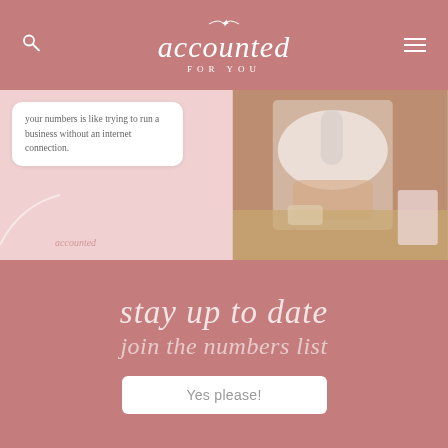accounted FOR YOU
[Figure (screenshot): Left panel: pink background with white chat bubble saying 'your numbers is like trying to run a business without an internet connection.' with a cursive logo at bottom. Right panel: photo of a woman in white top sitting at a table holding a drink, with brick wall background.]
stay up to date
join the numbers list
Yes please!